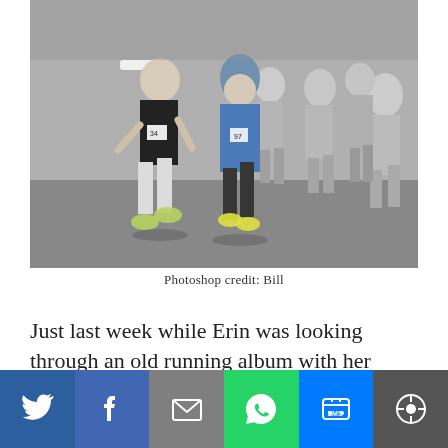[Figure (photo): Black and white photograph of a group of runners in a road race. Prominent in the foreground is a woman in a white visor and black top (bib #34) and another woman in a blue cap and blue shirt (bib #97). Multiple other runners visible in background.]
Photoshop credit: Bill
Just last week while Erin was looking through an old running album with her son, she found this picture from the...